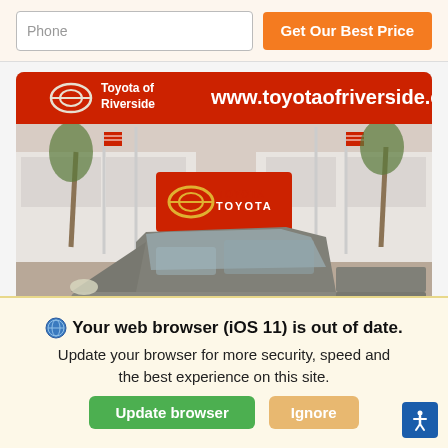Phone
Get Our Best Price
[Figure (photo): Toyota of Riverside dealership advertisement showing a gray Toyota Tacoma pickup truck parked in front of the Toyota of Riverside dealership building. The image has a red banner at top with the Toyota logo and www.toyotaofriverside.com website URL. The truck is silver/gray and shown in three-quarter front view.]
Your web browser (iOS 11) is out of date. Update your browser for more security, speed and the best experience on this site.
Update browser
Ignore